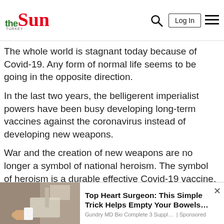the Sun — Log In [menu]
The whole world is stagnant today because of Covid-19. Any form of normal life seems to be going in the opposite direction.
In the last two years, the belligerent imperialist powers have been busy developing long-term vaccines against the coronavirus instead of developing new weapons.
War and the creation of new weapons are no longer a symbol of national heroism. The symbol of heroism is a durable effective Covid-19 vaccine.
[Figure (photo): Advertisement photo showing a hand at a sink, with ad text: Top Heart Surgeon: This Simple Trick Helps Empty Your Bowels... Gundry MD Bio Complete 3 Suppl... | Sponsored]